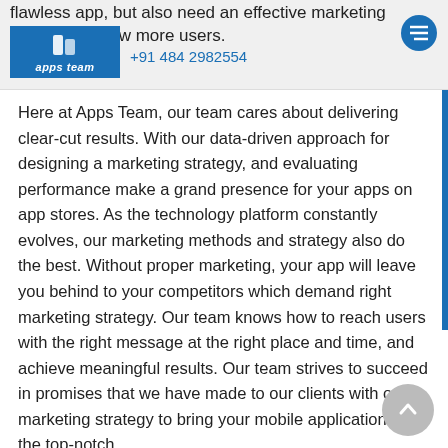flawless app, but also need an effective marketing strategy to draw more users. +91 484 2982554 | apps team
Here at Apps Team, our team cares about delivering clear-cut results. With our data-driven approach for designing a marketing strategy, and evaluating performance make a grand presence for your apps on app stores. As the technology platform constantly evolves, our marketing methods and strategy also do the best. Without proper marketing, your app will leave you behind to your competitors which demand right marketing strategy. Our team knows how to reach users with the right message at the right place and time, and achieve meaningful results. Our team strives to succeed in promises that we have made to our clients with our marketing strategy to bring your mobile application on the top-notch.
Our Mobile App Marketing Services
Our team possesses marketing professionals who have in-depth knowledge and understanding of digital and offline media.